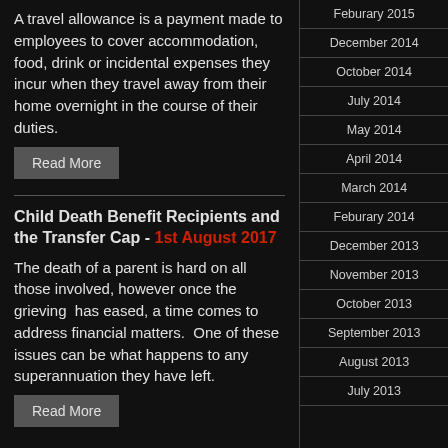A travel allowance is a payment made to employees to cover accommodation, food, drink or incidental expenses they incur when they travel away from their home overnight in the course of their duties.
Read More
Child Death Benefit Recipients and the Transfer Cap - 1st August 2017
The death of a parent is hard on all those involved, however once the grieving has eased, a time comes to address financial matters.  One of these issues can be what happens to any superannuation they have left.
Read More
Feburary 2015
December 2014
October 2014
July 2014
May 2014
April 2014
March 2014
Feburary 2014
December 2013
November 2013
October 2013
September 2013
August 2013
July 2013